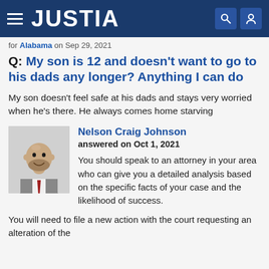JUSTIA
for Alabama on Sep 29, 2021
Q: My son is 12 and doesn't want to go to his dads any longer? Anything I can do
My son doesn't feel safe at his dads and stays very worried when he's there. He always comes home starving
Nelson Craig Johnson
answered on Oct 1, 2021
You should speak to an attorney in your area who can give you a detailed analysis based on the specific facts of your case and the likelihood of success.
You will need to file a new action with the court requesting an alteration of the